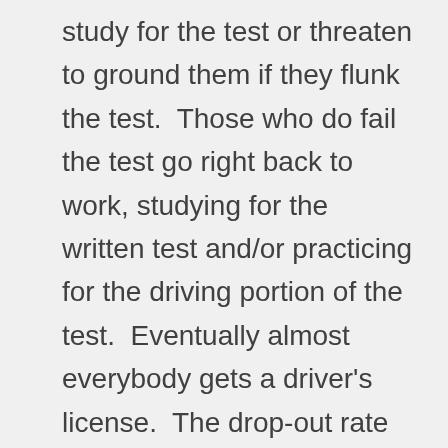study for the test or threaten to ground them if they flunk the test.  Those who do fail the test go right back to work, studying for the written test and/or practicing for the driving portion of the test.  Eventually almost everybody gets a driver's license.  The drop-out rate for that particular course of study is nearly zero.  Once they learn how to drive, they don't forget.  The knowledge acquired and the skills developed are utilized immediately and continuously.